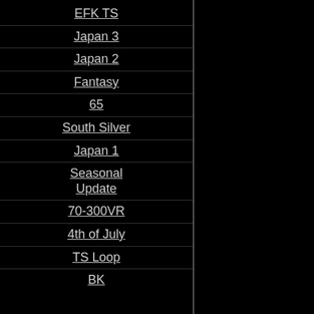EFK TS
Japan 3
Japan 2
Fantasy
65
South Silver
Japan 1
Seasonal Update
70-300VR
4th of July
TS Loop
BK